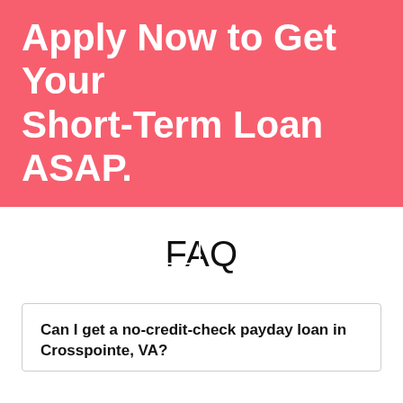Apply Now to Get Your Short-Term Loan ASAP.
Apply Now
FAQ
Can I get a no-credit-check payday loan in Crosspointe, VA?